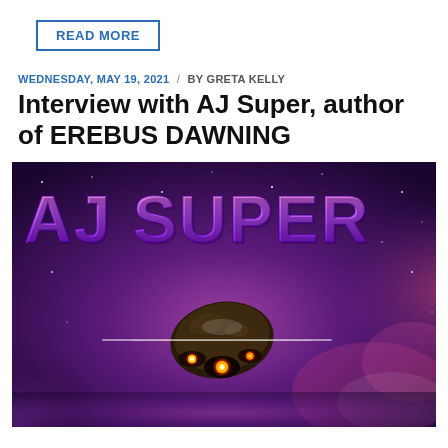READ MORE
WEDNESDAY, MAY 19, 2021 / BY GRETA KELLY
Interview with AJ Super, author of EREBUS DAWNING
[Figure (illustration): Book cover for EREBUS DAWNING by AJ Super showing a spacecraft flying through a purple and pink nebula galaxy background with the author name 'AJ SUPER' in large colorful letters at the top]